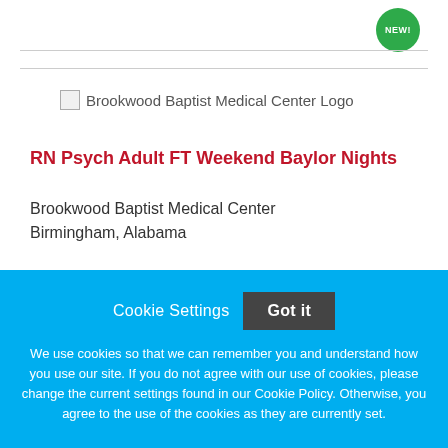[Figure (logo): Brookwood Baptist Medical Center Logo — broken image placeholder with alt text]
RN Psych Adult FT Weekend Baylor Nights
Brookwood Baptist Medical Center
Birmingham, Alabama
Cookie Settings  Got it
We use cookies so that we can remember you and understand how you use our site. If you do not agree with our use of cookies, please change the current settings found in our Cookie Policy. Otherwise, you agree to the use of the cookies as they are currently set.